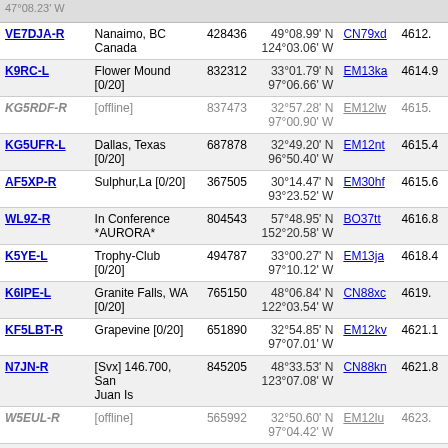| Callsign | Location | Node | Coordinates | Grid | Freq |
| --- | --- | --- | --- | --- | --- |
| VE7DJA-R | Nanaimo, BC Canada | 428436 | 49°08.99' N 124°03.06' W | CN79xd | 4612. |
| K9RC-L | Flower Mound [0/20] | 832312 | 33°01.79' N 97°06.66' W | EM13ka | 4614.9 |
| KG5RDF-R | [offline] | 837473 | 32°57.28' N 97°00.90' W | EM12lw | 4615. |
| KG5UFR-L | Dallas, Texas [0/20] | 687878 | 32°49.20' N 96°50.40' W | EM12nt | 4615.4 |
| AF5XP-R | Sulphur,La [0/20] | 367505 | 30°14.47' N 93°23.52' W | EM30hf | 4615.6 |
| WL9Z-R | In Conference *AURORA* | 804543 | 57°48.95' N 152°20.58' W | BO37tt | 4616.8 |
| K5YE-L | Trophy-Club [0/20] | 494787 | 33°00.27' N 97°10.12' W | EM13ja | 4618.4 |
| K6IPE-L | Granite Falls, WA [0/20] | 765150 | 48°06.84' N 122°03.54' W | CN88xc | 4619. |
| KF5LBT-R | Grapevine [0/20] | 651890 | 32°54.85' N 97°07.01' W | EM12kv | 4621.1 |
| N7JN-R | [Svx] 146.700, San Juan Is | 845205 | 48°33.53' N 123°07.08' W | CN88kn | 4621.8 |
| W5EUL-R | [offline] | 565992 | 32°50.60' N 97°04.42' W | EM12lu | 4623. |
| VE7US-L | Highlands,Vic BC | 148561 | 48°50.45' N 123°49.68' W | CN88cu | 4624. |
| KD5KNR-L | Bedford, TX [0/20] | 198485 | 32°50.07' N 97°08.37' W | EM12ku | 4626. |